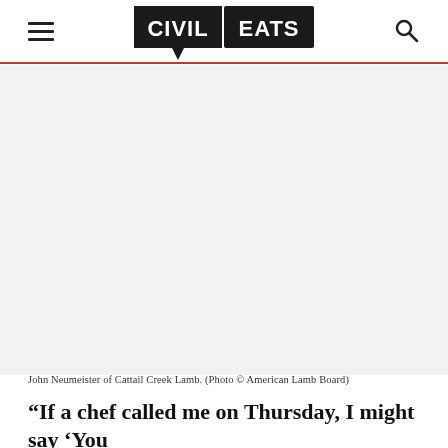CIVIL EATS
[Figure (photo): John Neumeister of Cattail Creek Lamb, photographed for the American Lamb Board. Large white/blank area representing the photo.]
John Neumeister of Cattail Creek Lamb. (Photo © American Lamb Board)
“If a chef called me on Thursday, I might say ‘You